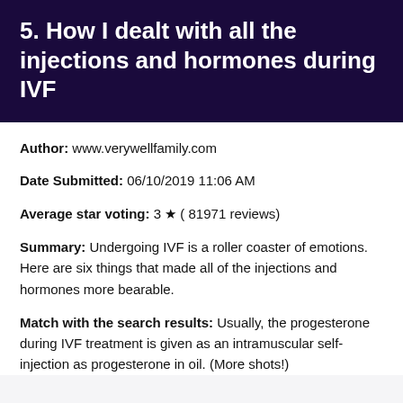5. How I dealt with all the injections and hormones during IVF
Author: www.verywellfamily.com
Date Submitted: 06/10/2019 11:06 AM
Average star voting: 3 ★ ( 81971 reviews)
Summary: Undergoing IVF is a roller coaster of emotions. Here are six things that made all of the injections and hormones more bearable.
Match with the search results: Usually, the progesterone during IVF treatment is given as an intramuscular self-injection as progesterone in oil. (More shots!)